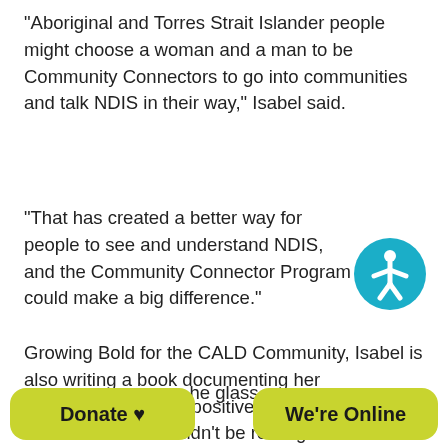“Aboriginal and Torres Strait Islander people might choose a woman and a man to be Community Connectors to go into communities and talk NDIS in their way,” Isabel said.
“That has created a better way for people to see and understand NDIS, and the Community Connector Program could make a big difference.”
[Figure (illustration): Accessibility icon: white figure with arms outstretched on a teal/blue circle background]
Growing Bold for the CALD Community, Isabel is also writing a book documenting her experiences. With a positive can-do outlook, Isabel said she wouldn’t be resting on her laurels and encouraged everyone to step up for others
he glass
Donate ♥
We’re Online